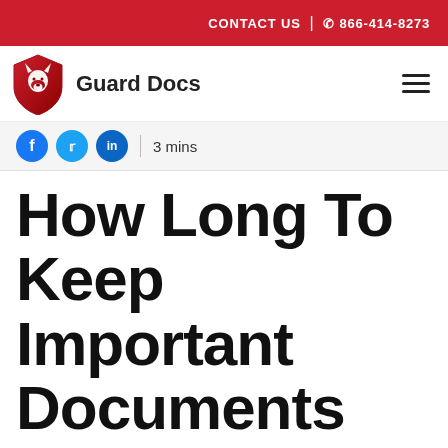CONTACT US | 866-414-8273
[Figure (logo): Guard Docs logo: red shield with white dog silhouette, text 'Guard Docs']
3 mins
How Long To Keep Important Documents Before Shred It